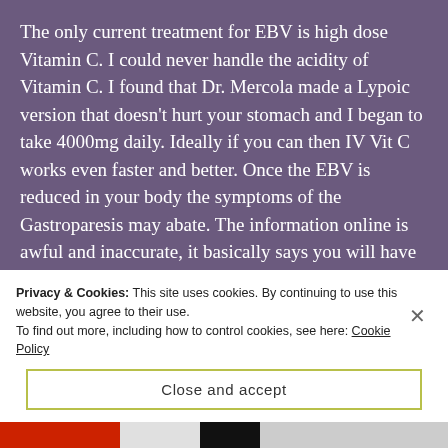The only current treatment for EBV is high dose Vitamin C. I could never handle the acidity of Vitamin C. I found that Dr. Mercola made a Lypoic version that doesn't hurt your stomach and I began to take 4000mg daily. Ideally if you can then IV Vit C works even faster and better. Once the EBV is reduced in your body the symptoms of the Gastroparesis may abate. The information online is awful and inaccurate, it basically says you will have it for life, but I have known people who overcame it, through diet modification, managing stress (which can exacerbate any serious illness), adequate rest and
Privacy & Cookies: This site uses cookies. By continuing to use this website, you agree to their use.
To find out more, including how to control cookies, see here: Cookie Policy
Close and accept